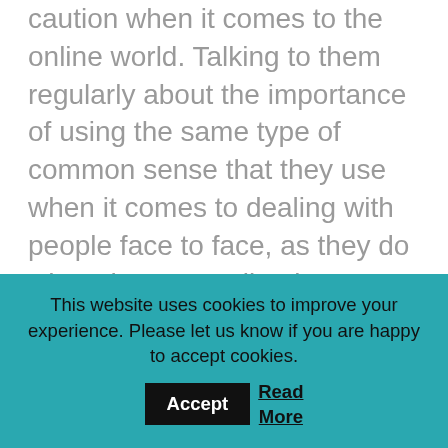caution when it comes to the online world. Talking to them regularly about the importance of using the same type of common sense that they use when it comes to dealing with people face to face, as they do when they are online is very important.
The prevalence of social media means that there is a growing belief among young people that what they see online is real. We encourage teens in particular, to be aware of what we term fake perfect! We remind kids that what they see online isn't always real. Many images online are
This website uses cookies to improve your experience. Please let us know if you are happy to accept cookies. Accept Read More